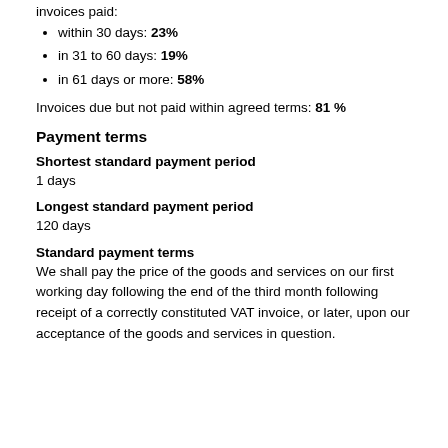invoices paid:
within 30 days: 23%
in 31 to 60 days: 19%
in 61 days or more: 58%
Invoices due but not paid within agreed terms: 81 %
Payment terms
Shortest standard payment period
1 days
Longest standard payment period
120 days
Standard payment terms
We shall pay the price of the goods and services on our first working day following the end of the third month following receipt of a correctly constituted VAT invoice, or later, upon our acceptance of the goods and services in question.